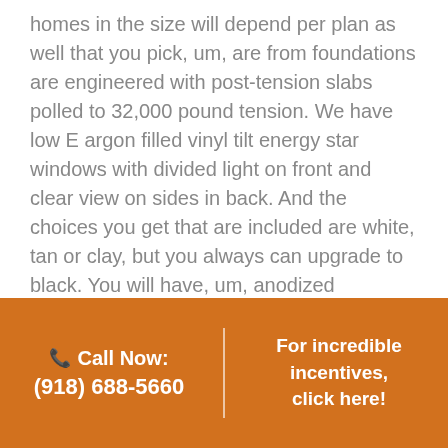homes in the size will depend per plan as well that you pick, um, are from foundations are engineered with post-tension slabs polled to 32,000 pound tension. We have low E argon filled vinyl tilt energy star windows with divided light on front and clear view on sides in back. And the choices you get that are included are white, tan or clay, but you always can upgrade to black. You will have, um, anodized seamless aluminum guttering in down sport spouts on front of home. Our framing is two by four by 16 on center interior and exterior walls.
Speaker 1: (01:10)
Call Now: (918) 688-5660 | For incredible incentives, click here!